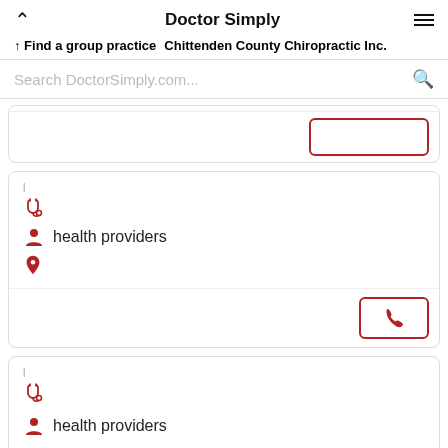Doctor Simply
↑ Find a group practice   Chittenden County Chiropractic Inc.
Search DoctorSimply.com...
[Figure (screenshot): Partial card with phone button at bottom right]
[Figure (screenshot): Provider card with stethoscope, person, and location pin icons; text: health providers; phone button]
[Figure (screenshot): Partial provider card with stethoscope and person icons; text: health providers]